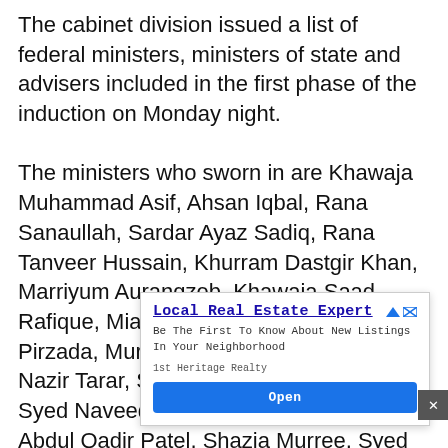The cabinet division issued a list of federal ministers, ministers of state and advisers included in the first phase of the induction on Monday night. The ministers who sworn in are Khawaja Muhammad Asif, Ahsan Iqbal, Rana Sanaullah, Sardar Ayaz Sadiq, Rana Tanveer Hussain, Khurram Dastgir Khan, Marriyum Aurangzeb, Khawaja Saad Rafique, Mian Javed Latif, Riaz Hussain Pirzada, Murtaza Javed Abbasi, Azam Nazir Tarar, Syed Khurshid Ahmad Shah, Syed Naveed Qamar, Sherry Rehman, Abdul Qadir Patel, Shazia Murree, Syed Murtaza Mahmood...[truncated by ad overlay]...azari, Abid Hu...odul Shakoo...aisal
[Figure (other): Advertisement overlay for Local Real Estate Expert by 1st Heritage Realty with 'Open' button]